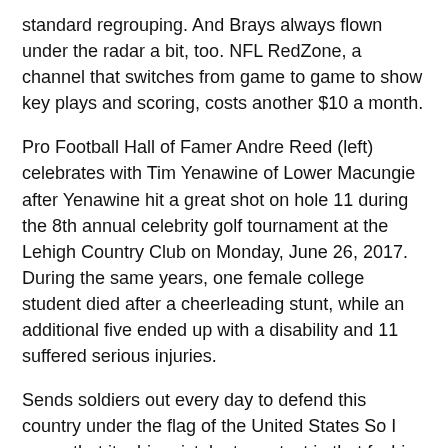standard regrouping. And Brays always flown under the radar a bit, too. NFL RedZone, a channel that switches from game to game to show key plays and scoring, costs another $10 a month.
Pro Football Hall of Famer Andre Reed (left) celebrates with Tim Yenawine of Lower Macungie after Yenawine hit a great shot on hole 11 during the 8th annual celebrity golf tournament at the Lehigh Country Club on Monday, June 26, 2017. During the same years, one female college student died after a cheerleading stunt, while an additional five ended up with a disability and 11 suffered serious injuries.
Sends soldiers out every day to defend this country under the flag of the United States So I agree that it a big mistake to protest in that fashion because it weakens the commitment we have to this nation that has provided us this freedom.Mr. Brian Hoyer's greatest asset was his familiarity with Kyle Shanahan's system, but at times it's looked as if he's running it for the first time.
There are dolphins jersey also golf and bowling